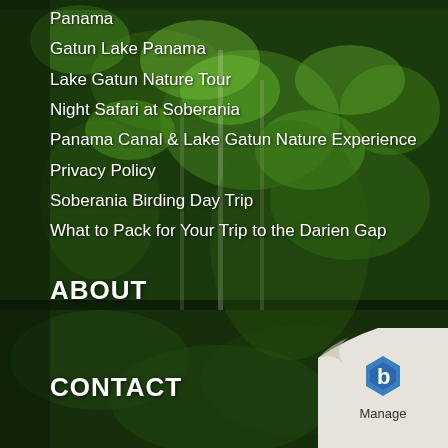[Figure (photo): Dense tropical rainforest with tall trees and lush green canopy, dark background]
Panama
Gatun Lake Panama
Lake Gatun Nature Tour
Night Safari at Soberania
Panama Canal & Lake Gatun Nature Experience
Privacy Policy
Soberania Birding Day Trip
What to Pack for Your Trip to the Darien Gap
ABOUT
CONTACT
Email:
[Figure (logo): Page curl with blue hexagonal Manage logo in bottom right corner]